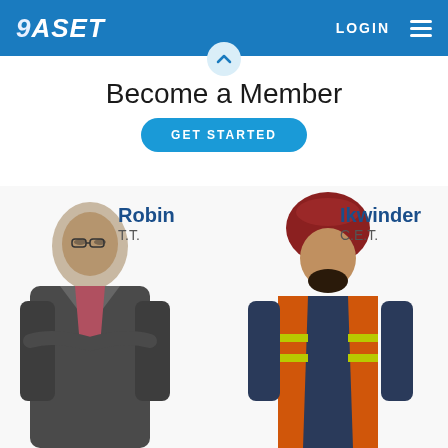ASET | LOGIN ☰
Become a Member
GET STARTED
[Figure (photo): Photo of Robin (T.T.) — a man in a dark blazer with arms crossed, and Ikwinder (C.E.T.) — a man wearing a red turban and orange safety vest]
Robin
T.T.
Ikwinder
C.E.T.